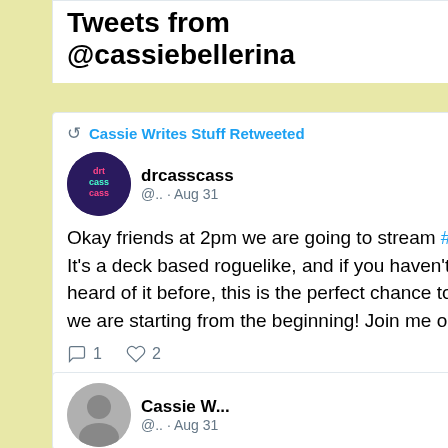Tweets from @cassiebellerina
[Figure (screenshot): Twitter/social media feed screenshot showing a tweet card with retweet by Cassie Writes Stuff from drcasscass (@..) Aug 31, reading: Okay friends at 2pm we are going to stream #SlaytheSpire It's a deck based roguelike, and if you haven't played or heard of it before, this is the perfect chance to learn since we are starting from the beginning! Join me on twitch 😀. Actions: 1 reply, 2 likes.]
[Figure (screenshot): Partial Twitter card showing Cassie W... @.. · Aug 31 with profile photo]